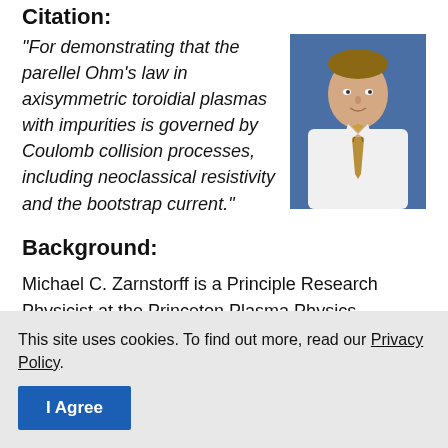Citation:
"For demonstrating that the parellel Ohm's law in axisymmetric toroidial plasmas with impurities is governed by Coulomb collision processes, including neoclassical resistivity and the bootstrap current."
[Figure (photo): Portrait photo of Michael C. Zarnstorff, a man in a white shirt and patterned tie against a blue background]
Background:
Michael C. Zarnstorff is a Principle Research Physicist at the Princeton Plasma Physics Laboratory. He was named a Distinguished Research Fellow by the laboratory in 1995 and teaches in the Astrophysics Department of Princeton University. He received his Ph.D. in Physics from the University of Wisconsin-Madison (1984). Mike is an experimental plasma physicist with interest in the basic physics of plasma confinement and configuration optimization. His research included the first observation and systematic study of the bootstrap current, investigations of neoclassical transport, transport barriers, and the confinement properties of different magnetic field configurations. He led
This site uses cookies. To find out more, read our Privacy Policy.
I Agree